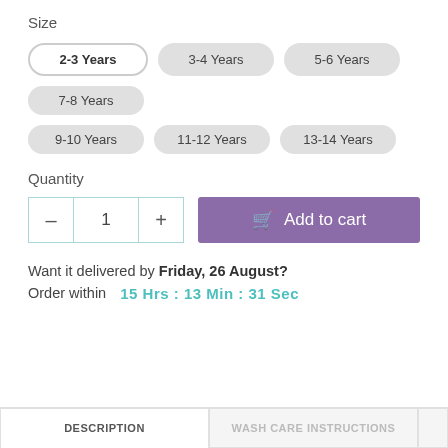Size
2-3 Years
3-4 Years
5-6 Years
7-8 Years
9-10 Years
11-12 Years
13-14 Years
Quantity
– 1 + Add to cart
Want it delivered by Friday, 26 August? Order within 15 Hrs : 13 Min : 31 Sec
DESCRIPTION   WASH CARE INSTRUCTIONS